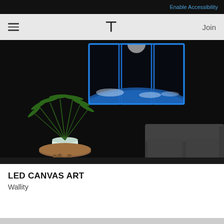Enable Accessibility
T  Join
[Figure (photo): Dark room interior with LED canvas art on wall showing Earth from space with blue glowing panels, a green plant in white pot on a wooden side table, and a dark grey sofa.]
LED CANVAS ART
Wallity